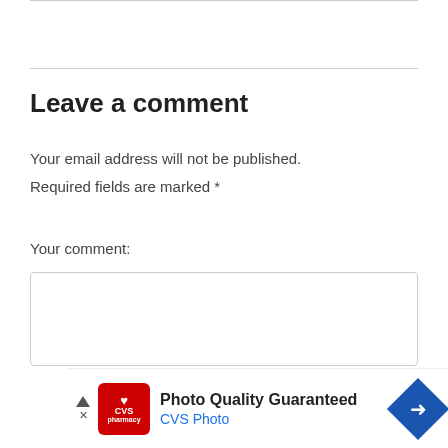Leave a comment
Your email address will not be published.
Required fields are marked *
Your comment:
[Figure (other): Empty comment text area input box with rounded border]
[Figure (other): CVS Photo advertisement banner: Photo Quality Guaranteed, CVS Photo, with CVS pharmacy logo and directional arrow icon]